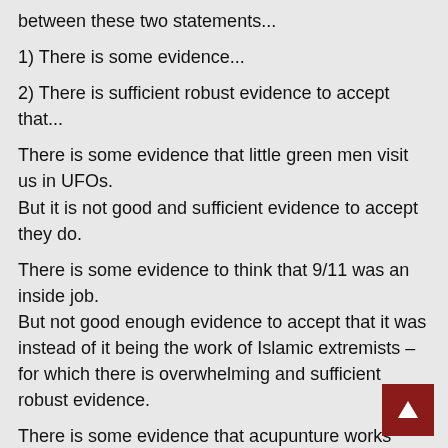Andrew – you need to learn the difference between these two statements...
1) There is some evidence...
2) There is sufficient robust evidence to accept that...
There is some evidence that little green men visit us in UFOs.
But it is not good and sufficient evidence to accept they do.
There is some evidence to think that 9/11 was an inside job.
But not good enough evidence to accept that it was instead of it being the work of Islamic extremists – for which there is overwhelming and sufficient robust evidence.
There is some evidence that acupunture works